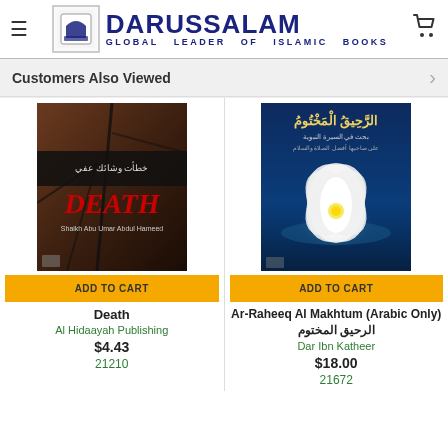DARUSSALAM — GLOBAL LEADER OF ISLAMIC BOOKS
Customers Also Viewed
[Figure (photo): Book cover for 'Death' by Shaikh Abu Umar Abdul Hameed, dark cracked earth background with red DEATH text]
ADD TO CART
Death
Al Hidaayah Publishing
$4.43
21210
[Figure (photo): Book cover for 'Ar-Raheeq Al Makhtum' Arabic edition, dark blue background with white lotus flower]
ADD TO CART
Ar-Raheeq Al Makhtum (Arabic Only) الرحيق المختوم
Dar Ibn Katheer
$18.00
21672